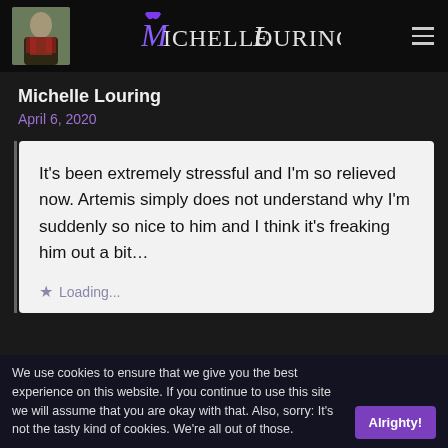Michelle Louring
Michelle Louring
April 6, 2020
It’s been extremely stressful and I’m so relieved now. Artemis simply does not understand why I’m suddenly so nice to him and I think it’s freaking him out a bit…
Loading...
We use cookies to ensure that we give you the best experience on this website. If you continue to use this site we will assume that you are okay with that. Also, sorry: It’s not the tasty kind of cookies. We’re all out of those.